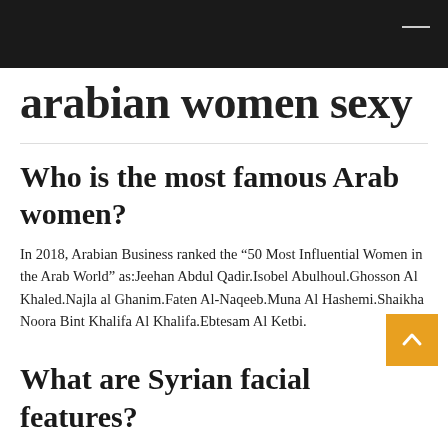arabian women sexy
Who is the most famous Arab women?
In 2018, Arabian Business ranked the “50 Most Influential Women in the Arab World” as:Jeehan Abdul Qadir.Isobel Abulhoul.Ghosson Al Khaled.Najla al Ghanim.Faten Al-Naqeeb.Muna Al Hashemi.Shaikha Noora Bint Khalifa Al Khalifa.Ebtesam Al Ketbi.
What are Syrian facial features?
Syrians generally have olive skin, dark brown eyes, and black hair, but a wide variety of other physical